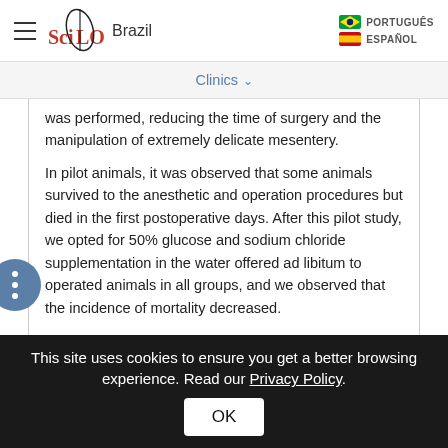≡  SciELO Brazil   PORTUGUÊS   ESPAÑOL
Clinics ∨
was performed, reducing the time of surgery and the manipulation of extremely delicate mesentery.
In pilot animals, it was observed that some animals survived to the anesthetic and operation procedures but died in the first postoperative days. After this pilot study, we opted for 50% glucose and sodium chloride supplementation in the water offered ad libitum to operated animals in all groups, and we observed that the incidence of mortality decreased.
This site uses cookies to ensure you get a better browsing experience. Read our Privacy Policy.